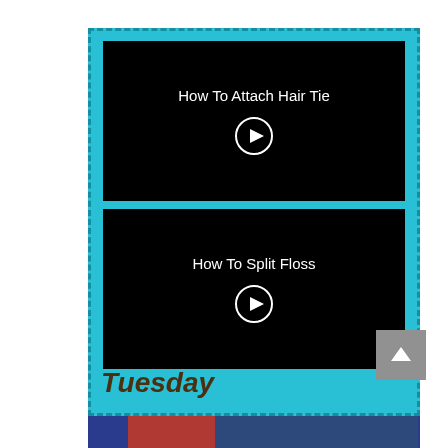[Figure (screenshot): Video thumbnail with black background showing title 'How To Attach Hair Tie' with a circular play button below it]
[Figure (screenshot): Video thumbnail with black background showing title 'How To Split Floss' with a circular play button below it]
Tuesday
[Figure (photo): Partial photo showing clothing items including jeans and a pink/red top at the bottom of the page]